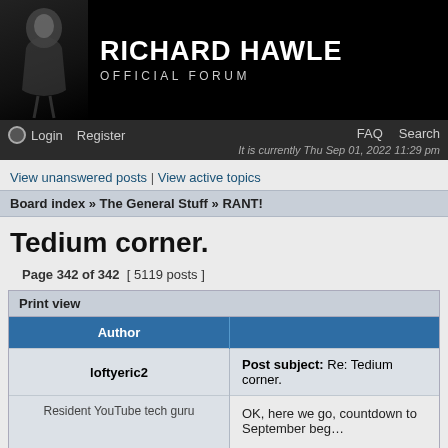[Figure (other): Richard Hawley Official Forum banner with dark background and artist silhouette]
Login  Register  FAQ  Search  It is currently Thu Sep 01, 2022 11:29 pm
View unanswered posts | View active topics
Board index » The General Stuff » RANT!
Tedium corner.
Page 342 of 342  [ 5119 posts ]
Print view
| Author |  |
| --- | --- |
| loftyeric2 | Post subject: Re: Tedium corner. |
| Resident YouTube tech guru | OK, here we go, countdown to September beg…

The heartbeat doesn't change, only the faces… |